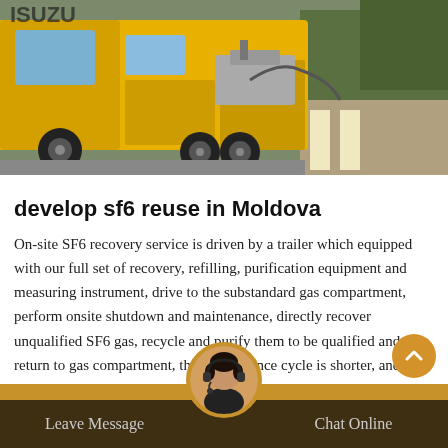[Figure (photo): Photo of a yellow Isuzu truck/vehicle with industrial gas handling equipment visible, outdoor setting with trees and pavement in background]
develop sf6 reuse in Moldova
On-site SF6 recovery service is driven by a trailer which equipped with our full set of recovery, refilling, purification equipment and measuring instrument, drive to the substandard gas compartment, perform onsite shutdown and maintenance, directly recover unqualified SF6 gas, recycle and purify them to be qualified and then return to gas compartment, the maintenance cycle is shorter, and users do not have to invest any money in purchasing SF6 gas handling device, measuring instruments and
Leave Message   Chat Online